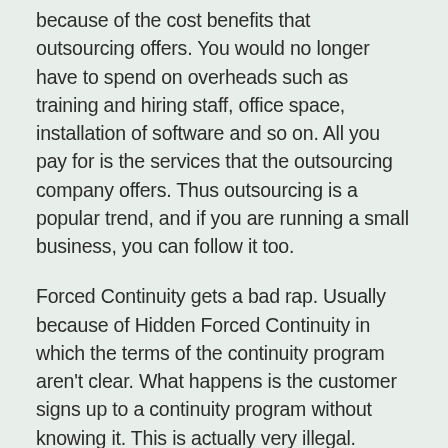because of the cost benefits that outsourcing offers. You would no longer have to spend on overheads such as training and hiring staff, office space, installation of software and so on. All you pay for is the services that the outsourcing company offers. Thus outsourcing is a popular trend, and if you are running a small business, you can follow it too.
Forced Continuity gets a bad rap. Usually because of Hidden Forced Continuity in which the terms of the continuity program aren't clear. What happens is the customer signs up to a continuity program without knowing it. This is actually very illegal.
call center tijuana s often hire writers to answer their emails. There are scores of emails that customers and clients write to the BPO. These are